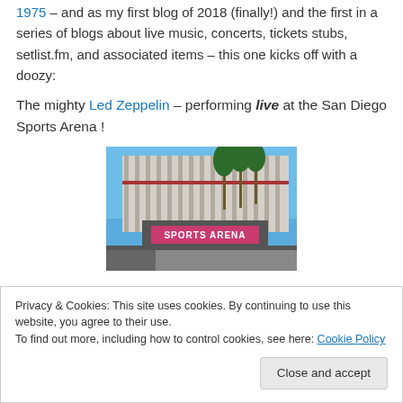and as my first blog of 2018 (finally!) and the first in a series of blogs about live music, concerts, tickets stubs, setlist.fm, and associated items – this one kicks off with a doozy:
The mighty Led Zeppelin – performing live at the San Diego Sports Arena !
[Figure (photo): Exterior photo of the San Diego Sports Arena building with palm trees and blue sky. A sign reads 'SPORTS ARENA' on a marquee in the foreground.]
Privacy & Cookies: This site uses cookies. By continuing to use this website, you agree to their use. To find out more, including how to control cookies, see here: Cookie Policy